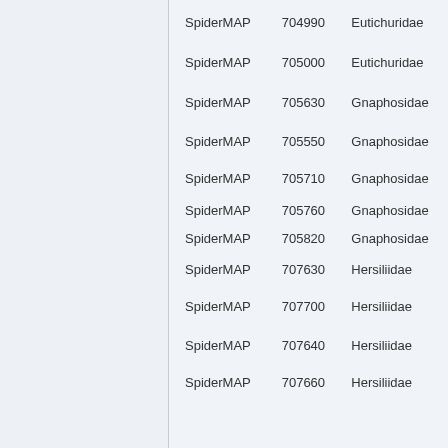| Source | ID | Family |
| --- | --- | --- |
| SpiderMAP | 704990 | Eutichuridae |
| SpiderMAP | 705000 | Eutichuridae |
| SpiderMAP | 705630 | Gnaphosidae |
| SpiderMAP | 705550 | Gnaphosidae |
| SpiderMAP | 705710 | Gnaphosidae |
| SpiderMAP | 705760 | Gnaphosidae |
| SpiderMAP | 705820 | Gnaphosidae |
| SpiderMAP | 707630 | Hersiliidae |
| SpiderMAP | 707700 | Hersiliidae |
| SpiderMAP | 707640 | Hersiliidae |
| SpiderMAP | 707660 | Hersiliidae |